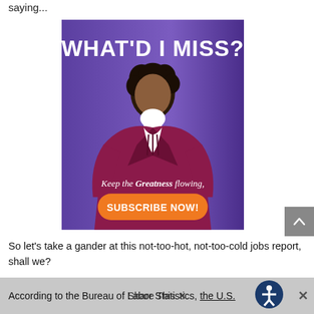saying...
[Figure (illustration): Advertisement image showing a person in a purple/maroon colonial-style costume with curly hair and white ruffled collar, with text 'WHAT'D I MISS?' at top and 'Keep the Greatness flowing, SUBSCRIBE NOW!' button at bottom, on a purple background.]
So let’s take a gander at this not-too-hot, not-too-cold jobs report, shall we?
According to the Bureau of Labor Statistics, the U.S.